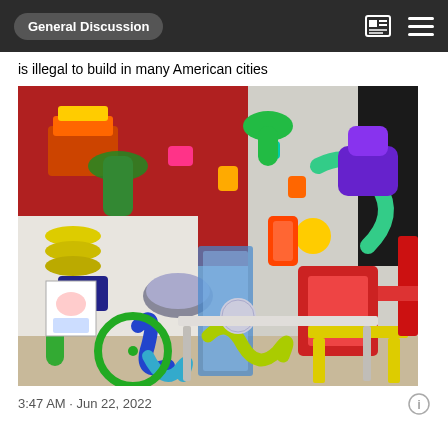General Discussion
is illegal to build in many American cities
[Figure (photo): An elaborate hamster cage setup with colorful tubes, wheels, and accessories filling a room corner. The cage system is extremely large and complex, with multiple levels, tunnels, and play areas made of brightly colored plastic components in red, green, blue, yellow, and purple against a red and white wall background.]
3:47 AM · Jun 22, 2022